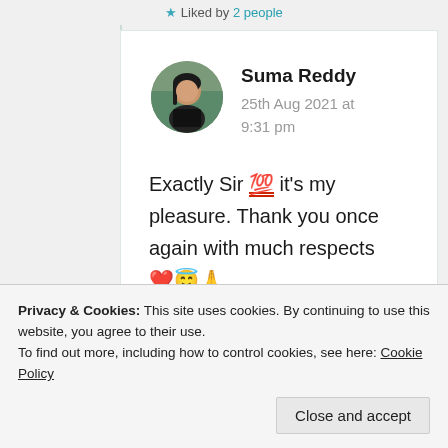★ Liked by 2 people
Suma Reddy
25th Aug 2021 at 9:31 pm
Exactly Sir 💯 it's my pleasure. Thank you once again with much respects ❤️😇🙏
Privacy & Cookies: This site uses cookies. By continuing to use this website, you agree to their use.
To find out more, including how to control cookies, see here: Cookie Policy
Close and accept